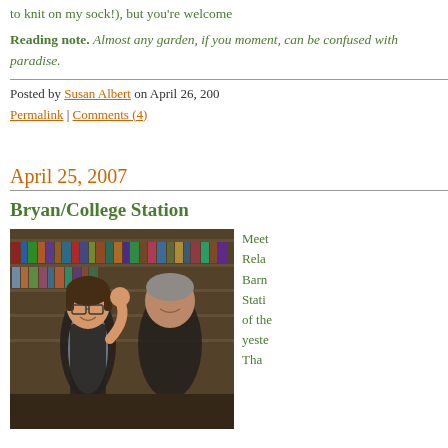to knit on my sock!), but you're welcome
Reading note. Almost any garden, if you moment, can be confused with paradise.
Posted by Susan Albert on April 26, 200 Permalink | Comments (4)
April 25, 2007
Bryan/College Station
[Figure (photo): Two people posing in front of bookshelves in a bookstore. A woman on the left wearing glasses and a dark vest is waving, and a man on the right is wearing a dark shirt.]
Meet Rela Barn Stati of the yeste Tha